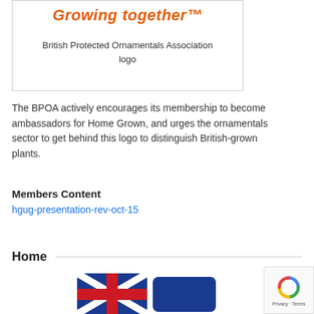[Figure (logo): British Protected Ornamentals Association logo showing 'Growing together™' in bold italic orange text]
British Protected Ornamentals Association logo
The BPOA actively encourages its membership to become ambassadors for Home Grown, and urges the ornamentals sector to get behind this logo to distinguish British-grown plants.
Members Content
hgug-presentation-rev-oct-15
Home
[Figure (logo): Home Grown logo with Union Jack flag design in red, white and blue]